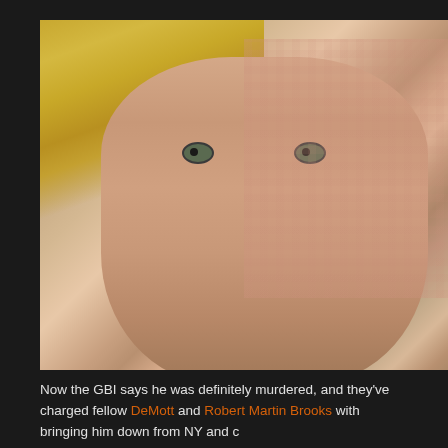[Figure (photo): Close-up mugshot photo of a blonde woman looking directly at the camera against a gray background, with visible JPEG compression artifacts on the right side of the image.]
Now the GBI says he was definitely murdered, and they've charged fellow DeMott and Robert Martin Brooks with bringing him down from NY and c